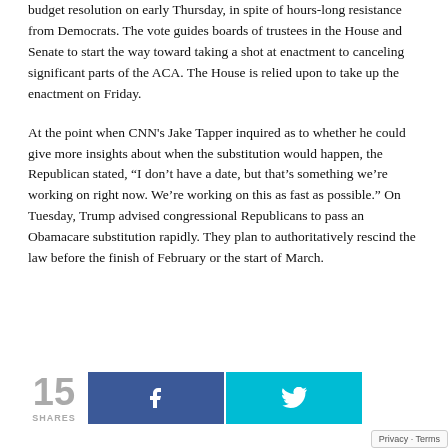budget resolution on early Thursday, in spite of hours-long resistance from Democrats. The vote guides boards of trustees in the House and Senate to start the way toward taking a shot at enactment to canceling significant parts of the ACA. The House is relied upon to take up the enactment on Friday.
At the point when CNN's Jake Tapper inquired as to whether he could give more insights about when the substitution would happen, the Republican stated, “I don’t have a date, but that’s something we’re working on right now. We’re working on this as fast as possible.” On Tuesday, Trump advised congressional Republicans to pass an Obamacare substitution rapidly. They plan to authoritatively rescind the law before the finish of February or the start of March.
[Figure (infographic): Social sharing bar showing 15 SHARES, a Facebook share button (dark blue with f icon), and a Twitter share button (cyan with bird icon)]